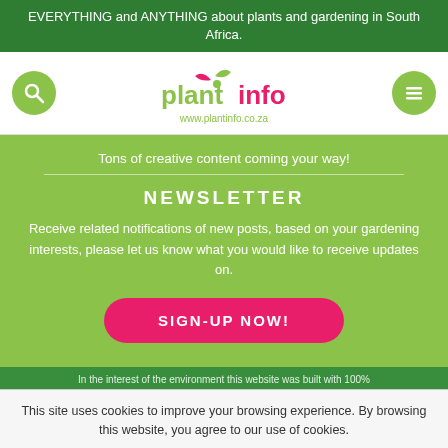EVERYTHING and ANYTHING about plants and gardening in South Africa.
[Figure (logo): Plantinfo logo with plant icon, text 'plantinfo' in green/pink and URL www.plantinfo.co.za]
Tons of creative content coming your way!
NEWSLETTER
Receive related notifications of new posts, based on your gardening interests, please let us know what you would like to receive updates on.
SIGN-UP NOW!
In the interest of the environment this website was built with 100%
This site uses cookies to improve your browsing experience. By browsing this website, you agree to our use of cookies.
MORE INFO
ACCEPT